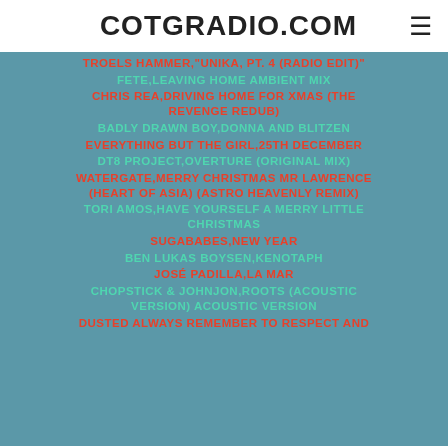COTGRADIO.COM
TROELS HAMMER,"UNIKA, PT. 4 (RADIO EDIT)"
FETE,LEAVING HOME AMBIENT MIX
CHRIS REA,DRIVING HOME FOR XMAS (THE REVENGE REDUB)
BADLY DRAWN BOY,DONNA AND BLITZEN
EVERYTHING BUT THE GIRL,25TH DECEMBER
DT8 PROJECT,OVERTURE (ORIGINAL MIX)
WATERGATE,MERRY CHRISTMAS MR LAWRENCE (HEART OF ASIA) (ASTRO HEAVENLY REMIX)
TORI AMOS,HAVE YOURSELF A MERRY LITTLE CHRISTMAS
SUGABABES,NEW YEAR
BEN LUKAS BOYSEN,KENOTAPH
JOSÉ PADILLA,LA MAR
CHOPSTICK & JOHNJON,ROOTS (ACOUSTIC VERSION) ACOUSTIC VERSION
DUSTED ALWAYS REMEMBER TO RESPECT AND